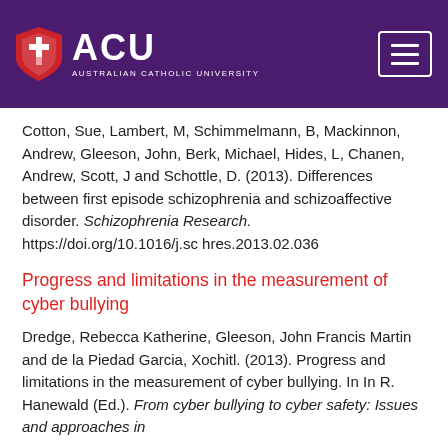ACU Australian Catholic University
Cotton, Sue, Lambert, M, Schimmelmann, B, Mackinnon, Andrew, Gleeson, John, Berk, Michael, Hides, L, Chanen, Andrew, Scott, J and Schottle, D. (2013). Differences between first episode schizophrenia and schizoaffective disorder. Schizophrenia Research. https://doi.org/10.1016/j.schres.2013.02.036
Progress and limitations in the measurement of cyber bullying
Dredge, Rebecca Katherine, Gleeson, John Francis Martin and de la Piedad Garcia, Xochitl. (2013). Progress and limitations in the measurement of cyber bullying. In In R. Hanewald (Ed.). From cyber bullying to cyber safety: Issues and approaches in